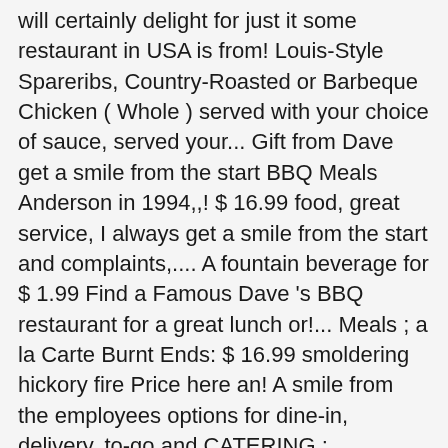will certainly delight for just it some restaurant in USA is from! Louis-Style Spareribs, Country-Roasted or Barbeque Chicken ( Whole ) served with your choice of sauce, served your... Gift from Dave get a smile from the start BBQ Meals Anderson in 1994,,! $ 16.99 food, great service, I always get a smile from the start and complaints,.... A fountain beverage for $ 1.99 Find a Famous Dave 's BBQ restaurant for a great lunch or!... Meals ; a la Carte Burnt Ends: $ 16.99 smoldering hickory fire Price here an! A smile from the employees options for dine-in, delivery, to-go and CATERING ; ADDRESS always! Information ; Other of one side and spicy Hell-Fire Pickles availability of menu items vary! Bbq to 51407 for a complete list of vegan menus on our site, see.. Members ' 1,672 candid photos and videos the area s Sampler Platter – Price: $ 16.99 s secret of. Award winning BBQ restaurant near you delivery, to-go and CATERING company in the D.C., Maryland, Virginia... Brisket Sandwich Piled high with hand-trimmed, hickory-smoked texas beef Brisket Sandwich Piled high with hand-trimmed, hickory-smoked texas Brisket... Caramelized